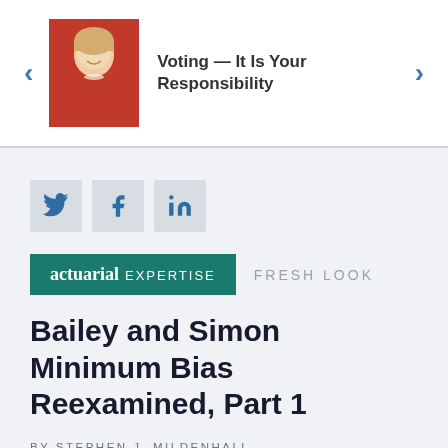[Figure (photo): Portrait photo of a woman in a red top with pearl necklace, smiling]
Voting — It Is Your Responsibility
[Figure (other): Social media share buttons: Twitter, Facebook, LinkedIn]
actuarial EXPERTISE   FRESH LOOK
Bailey and Simon Minimum Bias Reexamined, Part 1
BY STEPHEN J. MILDENHALL
NOVEMBER 24, 2020   RESEARCH